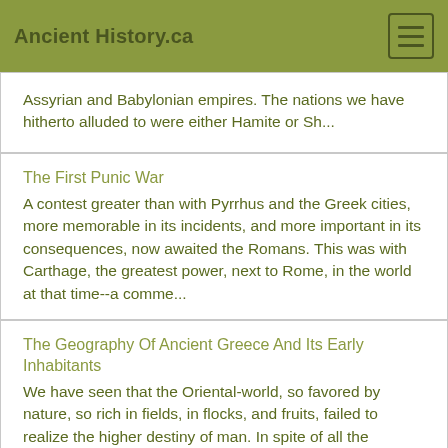Ancient History.ca
Assyrian and Babylonian empires. The nations we have hitherto alluded to were either Hamite or Sh...
The First Punic War
A contest greater than with Pyrrhus and the Greek cities, more memorable in its incidents, and more important in its consequences, now awaited the Romans. This was with Carthage, the greatest power, next to Rome, in the world at that time--a comme...
The Geography Of Ancient Greece And Its Early Inhabitants
We have seen that the Oriental-world, so favored by nature, so rich in fields, in flocks, and fruits, failed to realize the higher destiny of man. In spite of all the advantages of nature, he was degraded by debasing superstitions, and by the dege...